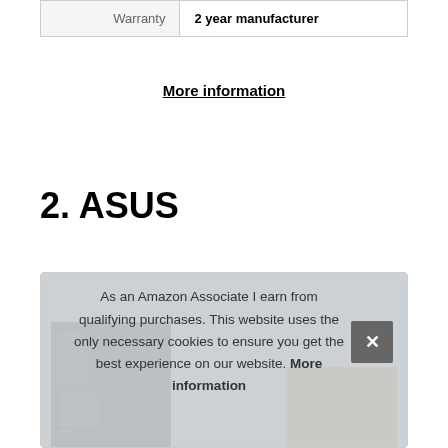|  |  |
| --- | --- |
| Warranty | 2 year manufacturer |
More information
2. ASUS
[Figure (photo): ASUS graphics card product image partially visible inside a product card with border]
As an Amazon Associate I earn from qualifying purchases. This website uses the only necessary cookies to ensure you get the best experience on our website. More information